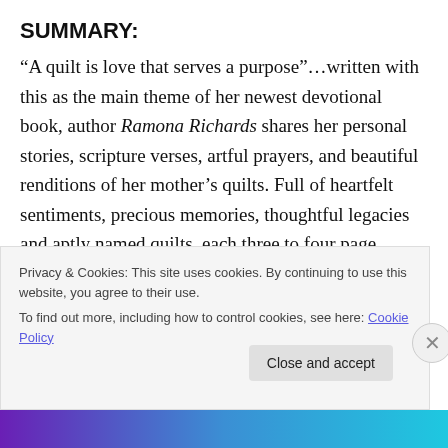SUMMARY:
“A quilt is love that serves a purpose”…written with this as the main theme of her newest devotional book, author Ramona Richards shares her personal stories, scripture verses, artful prayers, and beautiful renditions of her mother’s quilts. Full of heartfelt sentiments, precious memories, thoughtful legacies and aptly named quilts, each three to four page devotion is complete with a Bible verse, personal memory, starter prayer and lovely photography. With glossy pages, a satin bookmark, and a charming book cover, My Mother’s Quilts is perfect for
Privacy & Cookies: This site uses cookies. By continuing to use this website, you agree to their use.
To find out more, including how to control cookies, see here: Cookie Policy